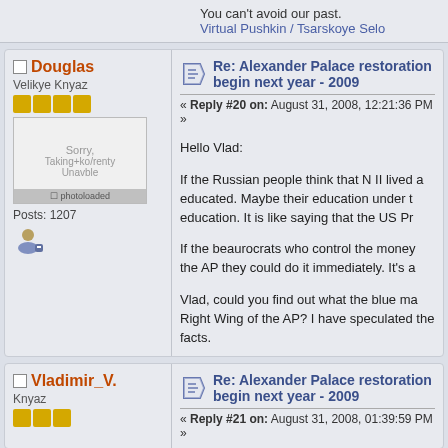You can't avoid our past.
Virtual Pushkin / Tsarskoye Selo
Douglas
Velikye Knyaz
Posts: 1207
Re: Alexander Palace restoration begin next year - 2009
« Reply #20 on: August 31, 2008, 12:21:36 PM »
Hello Vlad:

If the Russian people think that N II lived a educated. Maybe their education under t education. It is like saying that the US Pr

If the beaurocrats who control the money the AP they could do it immediately. It's a

Vlad, could you find out what the blue ma Right Wing of the AP? I have speculated the facts.
Vladimir_V.
Knyaz
Re: Alexander Palace restoration begin next year - 2009
« Reply #21 on: August 31, 2008, 01:39:59 PM »